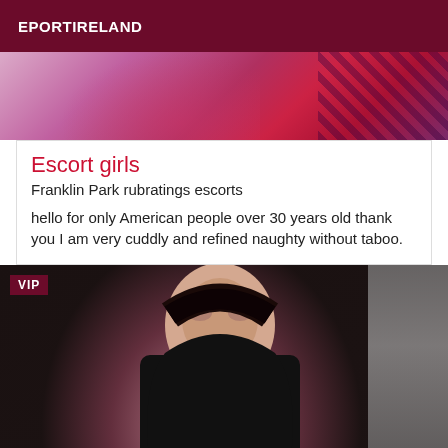EPORTIRELAND
[Figure (photo): Partial view of a person in colorful purple, pink and red fabric or clothing, with a fishnet pattern visible on the right side.]
Escort girls
Franklin Park rubratings escorts
hello for only American people over 30 years old thank you I am very cuddly and refined naughty without taboo.
[Figure (photo): A young woman with long dark hair wearing a black lace top, seated on a dark couch. A VIP badge overlay appears in the top-left corner.]